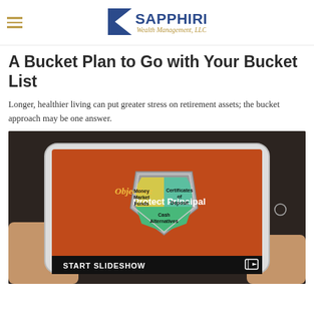Sapphire Wealth Management, LLC
A Bucket Plan to Go with Your Bucket List
Longer, healthier living can put greater stress on retirement assets; the bucket approach may be one answer.
[Figure (photo): Photo of hands holding a tablet displaying a slideshow slide titled 'Objective: Protect Principal' featuring a shield graphic divided into sections: Money Market Funds, Certificates of Deposit, and Cash Alternatives, with a 'START SLIDESHOW' bar at the bottom.]